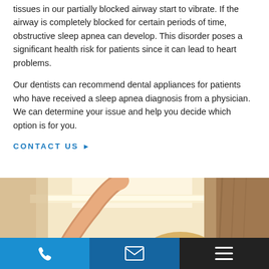tissues in our partially blocked airway start to vibrate. If the airway is completely blocked for certain periods of time, obstructive sleep apnea can develop. This disorder poses a significant health risk for patients since it can lead to heart problems.
Our dentists can recommend dental appliances for patients who have received a sleep apnea diagnosis from a physician. We can determine your issue and help you decide which option is for you.
CONTACT US ▶
[Figure (photo): Person stretching arms upward with light streaming through a curtained window, photographed from behind]
[Figure (infographic): Bottom navigation bar with three sections: phone icon (blue), email icon (dark blue), hamburger menu icon (dark/black)]